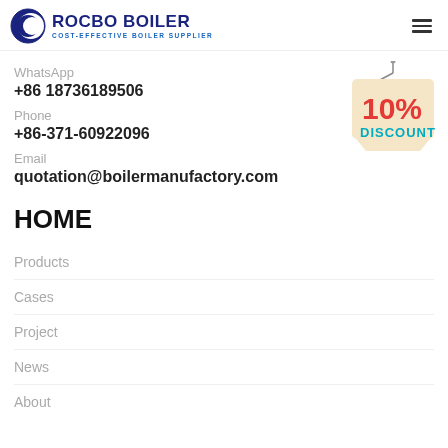[Figure (logo): Rocbo Boiler logo with crescent/circle icon and text 'ROCBO BOILER COST-EFFECTIVE BOILER SUPPLIER']
WhatsApp
+86 18736189506
Phone
+86-371-60922096
[Figure (illustration): 10% DISCOUNT hanging sign badge]
Email
quotation@boilermanufactory.com
HOME
Products
Cases
Project
News
About